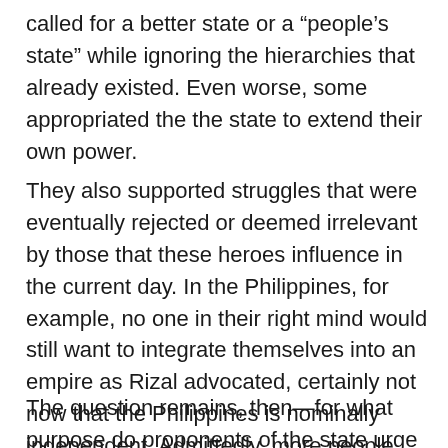called for a better state or a “people’s state” while ignoring the hierarchies that already existed. Even worse, some appropriated the the state to extend their own power.
They also supported struggles that were eventually rejected or deemed irrelevant by those that these heroes influence in the current day. In the Philippines, for example, no one in their right mind would still want to integrate themselves into an empire as Rizal advocated, certainly not now that the Philippines is nominally independent. Admittedly, more people would like to become citizens of the American Empire than of a Hispanic one.
The question remains, then—for what purpose do proponents of the state urge us to hearken back to